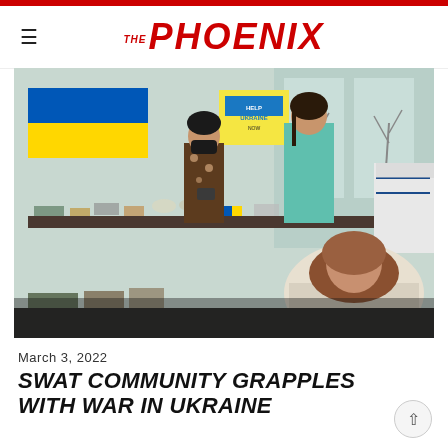THE PHOENIX
[Figure (photo): Students gathering around a table at a Ukraine solidarity event on the Swarthmore campus. A Ukrainian flag (blue and yellow) is displayed in the background, along with a poster reading 'HELP UKRAINE NOW'. Masked and unmasked students are visible, with items laid out on a folding table.]
March 3, 2022
SWAT COMMUNITY GRAPPLES WITH WAR IN UKRAINE